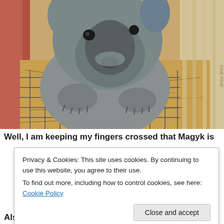[Figure (photo): Close-up photo of a gray chinchilla sitting in a wire cage with hay/straw bedding. The animal's face and front paws are visible, surrounded by dried grass.]
Well, I am keeping my fingers crossed that Magyk is
Privacy & Cookies: This site uses cookies. By continuing to use this website, you agree to their use.
To find out more, including how to control cookies, see here: Cookie Policy
Close and accept
Also, Fyre bred for the first time today!